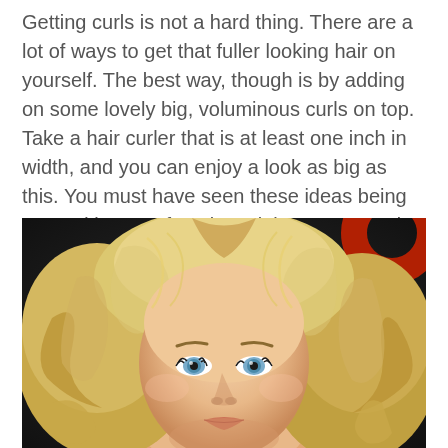Getting curls is not a hard thing. There are a lot of ways to get that fuller looking hair on yourself. The best way, though is by adding on some lovely big, voluminous curls on top. Take a hair curler that is at least one inch in width, and you can enjoy a look as big as this. You must have seen these ideas being sported by your favorite celeb on some red carpet event too. You can get the same for yourself.
[Figure (photo): Close-up portrait of a blonde woman with voluminous wavy curls, blue eyes, and glamorous makeup, photographed at what appears to be a red carpet event with a dark background featuring a partial red circular logo.]